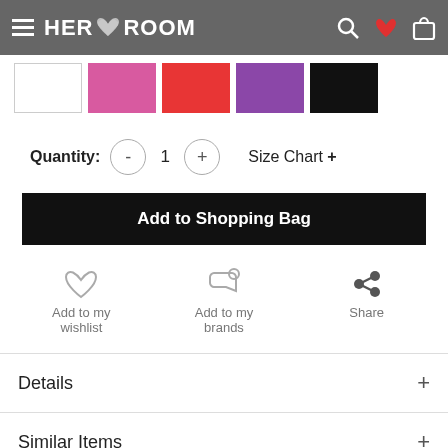HER♥ROOM
[Figure (screenshot): Color swatches: white, pink, red/coral, purple, black]
Quantity: - 1 + Size Chart +
Add to Shopping Bag
Add to my wishlist
Add to my brands
Share
Details +
Similar Items +